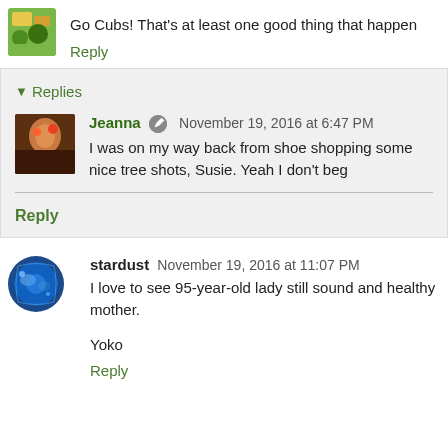Go Cubs! That's at least one good thing that happen
Reply
Replies
Jeanna November 19, 2016 at 6:47 PM
I was on my way back from shoe shopping some nice tree shots, Susie. Yeah I don't beg
Reply
stardust November 19, 2016 at 11:07 PM
I love to see 95-year-old lady still sound and healthy mother.
Yoko
Reply